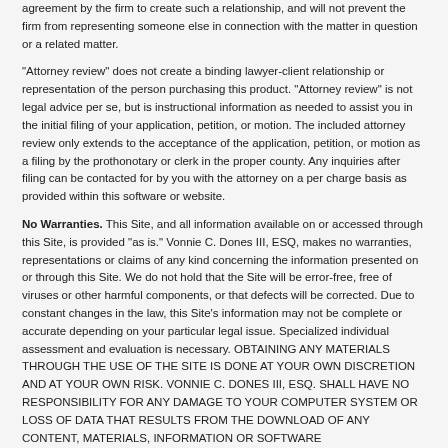agreement by the firm to create such a relationship, and will not prevent the firm from representing someone else in connection with the matter in question or a related matter.
"Attorney review" does not create a binding lawyer-client relationship or representation of the person purchasing this product. "Attorney review" is not legal advice per se, but is instructional information as needed to assist you in the initial filing of your application, petition, or motion. The included attorney review only extends to the acceptance of the application, petition, or motion as a filing by the prothonotary or clerk in the proper county. Any inquiries after filing can be contacted for by you with the attorney on a per charge basis as provided within this software or website.
No Warranties. This Site, and all information available on or accessed through this Site, is provided "as is." Vonnie C. Dones III, ESQ, makes no warranties, representations or claims of any kind concerning the information presented on or through this Site. We do not hold that the Site will be error-free, free of viruses or other harmful components, or that defects will be corrected. Due to constant changes in the law, this Site's information may not be complete or accurate depending on your particular legal issue. Specialized individual assessment and evaluation is necessary. OBTAINING ANY MATERIALS THROUGH THE USE OF THE SITE IS DONE AT YOUR OWN DISCRETION AND AT YOUR OWN RISK. VONNIE C. DONES III, ESQ. SHALL HAVE NO RESPONSIBILITY FOR ANY DAMAGE TO YOUR COMPUTER SYSTEM OR LOSS OF DATA THAT RESULTS FROM THE DOWNLOAD OF ANY CONTENT, MATERIALS, INFORMATION OR SOFTWARE